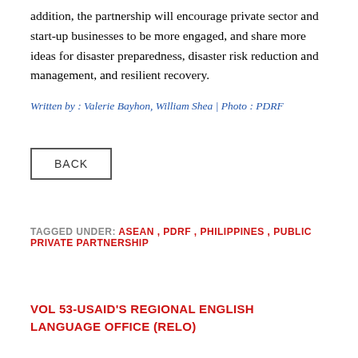addition, the partnership will encourage private sector and start-up businesses to be more engaged, and share more ideas for disaster preparedness, disaster risk reduction and management, and resilient recovery.
Written by : Valerie Bayhon, William Shea | Photo : PDRF
BACK
TAGGED UNDER: ASEAN , PDRF , PHILIPPINES , PUBLIC PRIVATE PARTNERSHIP
VOL 53-USAID'S REGIONAL ENGLISH LANGUAGE OFFICE (RELO)